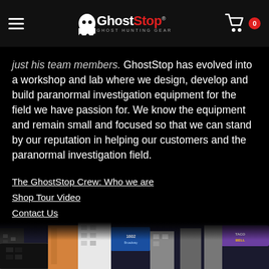GhostStop - Ghost Hunting Gear [navigation header with logo and cart]
just his team members. GhostStop has evolved into a workshop and lab where we design, develop and build paranormal investigation equipment for the field we have passion for. We know the equipment and remain small and focused so that we can stand by our reputation in helping our customers and the paranormal investigation field.
The GhostStop Crew: Who we are
Shop Tour Video
Contact Us
[Figure (logo): Facebook and Twitter social media icons]
[Figure (photo): City street scene photo strip at bottom of page]